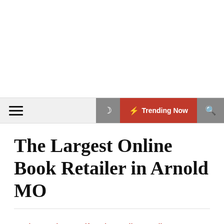≡  ☾  ⚡ Trending Now  🔍
The Largest Online Book Retailer in Arnold MO
Books  Business  Lifestyle  Media  Retail
issuewire  🕐 3 months ago